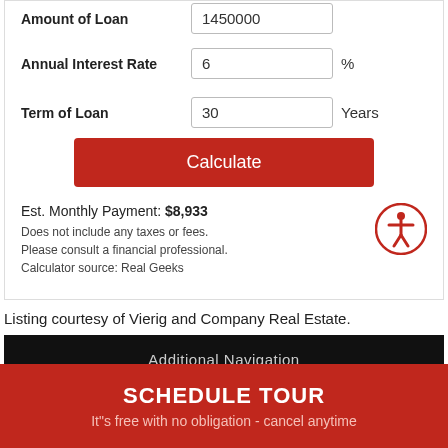Amount of Loan: 1450000
Annual Interest Rate: 6 %
Term of Loan: 30 Years
Calculate
Est. Monthly Payment: $8,933
Does not include any taxes or fees.
Please consult a financial professional.
Calculator source: Real Geeks
Listing courtesy of Vierig and Company Real Estate.
Additional Navigation
SCHEDULE TOUR
It"s free with no obligation - cancel anytime